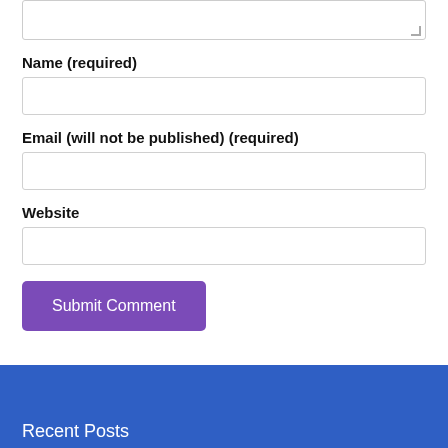[textarea]
Name (required)
[name input]
Email (will not be published) (required)
[email input]
Website
[website input]
Submit Comment
Recent Posts